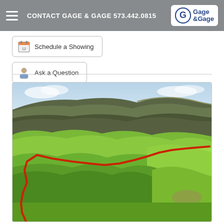CONTACT GAGE & GAGE 573.442.0815
Schedule a Showing
Ask a Question
[Figure (photo): Aerial drone photo of wooded land with a red boundary line outlining the property perimeter. Green trees and pasture visible, with a ridge/bluff in the background under a partly cloudy sky.]